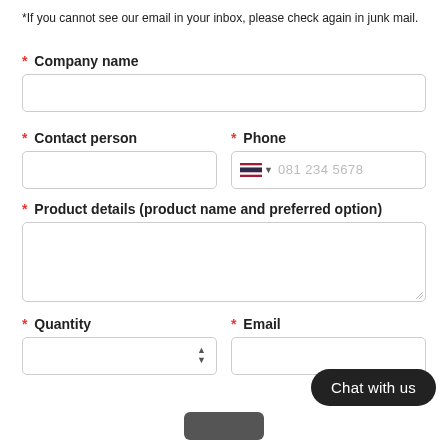*If you cannot see our email in your inbox, please check again in junk mail.
* Company name
* Contact person
* Phone
* Product details (product name and preferred option)
* Quantity
* Email